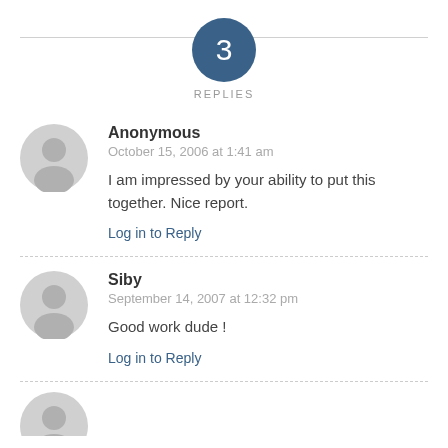[Figure (infographic): Dark blue circle with number 3 inside, centered on horizontal line]
REPLIES
[Figure (illustration): Gray anonymous user avatar icon]
Anonymous
October 15, 2006 at 1:41 am
I am impressed by your ability to put this together. Nice report.
Log in to Reply
[Figure (illustration): Gray anonymous user avatar icon]
Siby
September 14, 2007 at 12:32 pm
Good work dude !
Log in to Reply
[Figure (illustration): Gray anonymous user avatar icon (partially visible at bottom)]